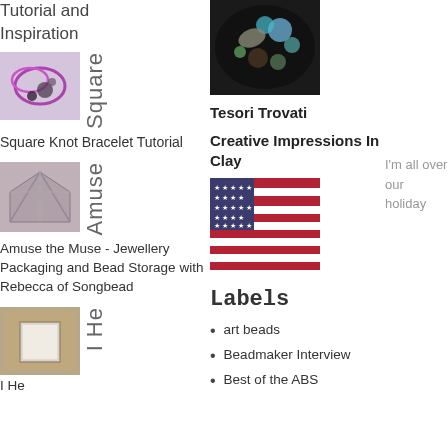Tutorial and Inspiration
[Figure (photo): Beads and craft materials scattered on dark background]
[Figure (photo): Square knot bracelet tutorial image with purple cord and beads]
Square Knot Bracelet Tutorial
[Figure (photo): Jewellery packaging with star/bow design]
Amuse the Muse - Jewellery Packaging and Bead Storage with Rebecca of Songbead
[Figure (photo): Bracelet on cork board]
I He
Tesori Trovati
Creative Impressions In Clay
[Figure (photo): American flag waving]
Labels
art beads
Beadmaker Interview
Best of the ABS
I'm all over our holiday